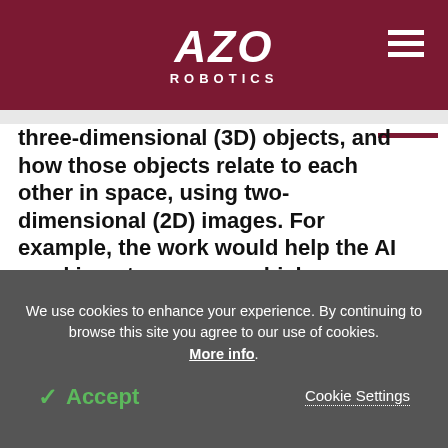AZO ROBOTICS
three-dimensional (3D) objects, and how those objects relate to each other in space, using two-dimensional (2D) images. For example, the work would help the AI used in autonomous vehicles navigate in relation to other vehicles using the 2D images it receives from an onboard camera.
"We live in a 3D world, but when you take a picture, it
We use cookies to enhance your experience. By continuing to browse this site you agree to our use of cookies. More info.
✓ Accept
Cookie Settings